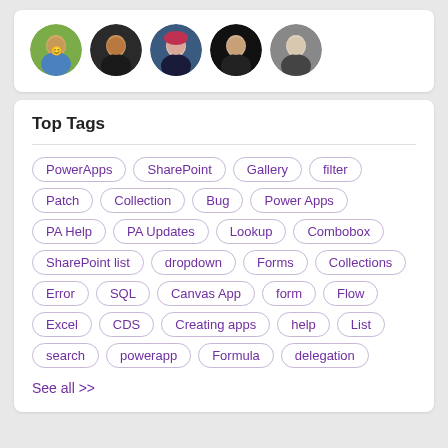[Figure (photo): Five circular avatar photos of community members displayed in a row]
Top Tags
PowerApps
SharePoint
Gallery
filter
Patch
Collection
Bug
Power Apps
PA Help
PA Updates
Lookup
Combobox
SharePoint list
dropdown
Forms
Collections
Error
SQL
Canvas App
form
Flow
Excel
CDS
Creating apps
help
List
search
powerapp
Formula
delegation
See all >>